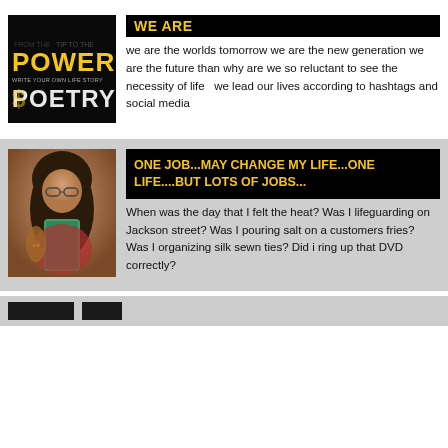[Figure (logo): Power Poetry logo - black background with yellow/white graffiti-style text reading POWER POETRY and 'WRITE YOUR OWN LIFE STORY']
WE ARE
we are the worlds tomorrow we are the new generation we are the future than why are we so reluctant to see the necessity of life   we lead our lives according to hashtags and social media
[Figure (photo): Young woman with long dark hair holding a phone up to her face, taking a selfie, wearing colorful clothing, warm-toned photo]
ONE JOB...MAY CHANGE MY LIFE...ONE LIFE....BUT LOTS OF JOBS...
When was the day that I felt the heat? Was I lifeguarding on Jackson street? Was I pouring salt on a customers fries? Was I organizing silk sewn ties? Did i ring up that DVD correctly?